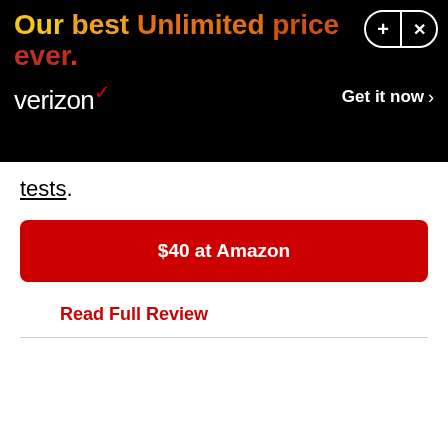[Figure (other): Verizon advertisement banner with black background. Headline reads 'Our best Unlimited price ever.' in gradient colors from yellow to red. Verizon logo on the left, 'Get it now >' CTA on the right. Plus and X control buttons in top right corner.]
tests.
$40 at Amazon
Read Full Review